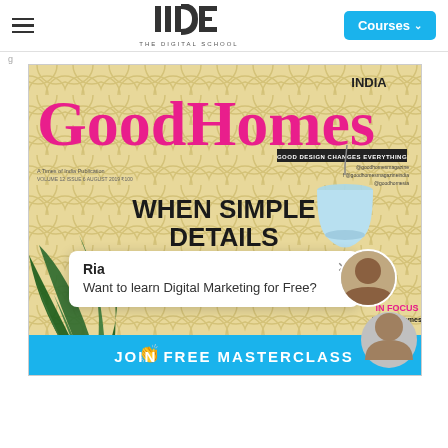IIDE – THE DIGITAL SCHOOL | Courses
[Figure (photo): GoodHomes India magazine cover featuring scallop pattern background, large pink GoodHomes masthead, headline 'WHEN SIMPLE DETAILS PLAY MUSE', a blue pendant lamp, and palm frond]
Ria
Want to learn Digital Marketing for Free?
JOIN FREE MASTERCLASS